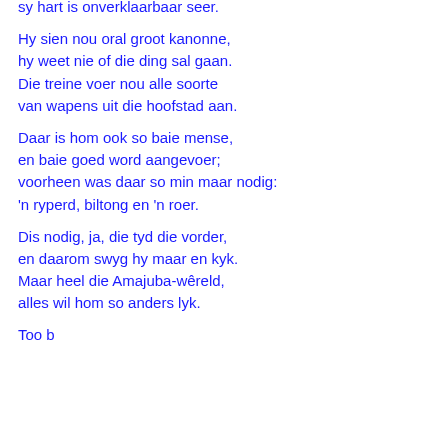sy hart is onverklaarbaar seer.
Hy sien nou oral groot kanonne,
hy weet nie of die ding sal gaan.
Die treine voer nou alle soorte
van wapens uit die hoofstad aan.
Daar is hom ook so baie mense,
en baie goed word aangevoer;
voorheen was daar so min maar nodig:
'n ryperd, biltong en 'n roer.
Dis nodig, ja, die tyd die vorder,
en daarom swyg hy maar en kyk.
Maar heel die Amajuba-wêreld,
alles wil hom so anders lyk.
Too b...